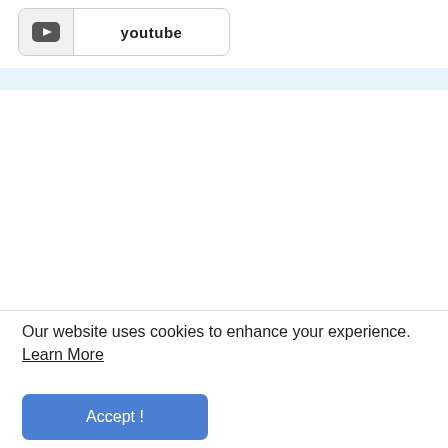[Figure (screenshot): YouTube button/link with play icon on left cell and 'youtube' text on right cell, styled as a rounded-rectangle button with border]
Our website uses cookies to enhance your experience. Learn More
Accept !